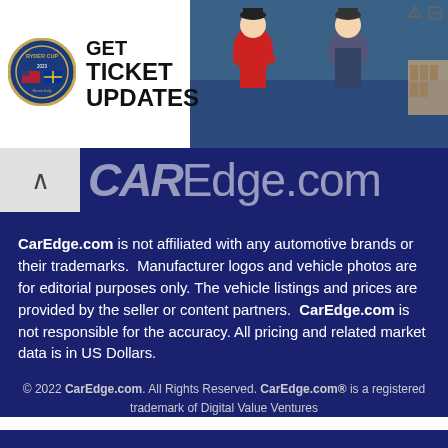[Figure (photo): Ryder Cup advertisement banner with logo and golfer photos, text reading GET TICKET UPDATES]
[Figure (logo): CarEdge.com website navigation bar with partially visible logo text on dark blue background]
CarEdge.com is not affiliated with any automotive brands or their trademarks.  Manufacturer logos and vehicle photos are for editorial purposes only. The vehicle listings and prices are provided by the seller or content partners.  CarEdge.com is not responsible for the accuracy. All pricing and related market data is in US Dollars.
© 2022 CarEdge.com. All Rights Reserved. CarEdge.com® is a registered trademark of Digital Value Ventures